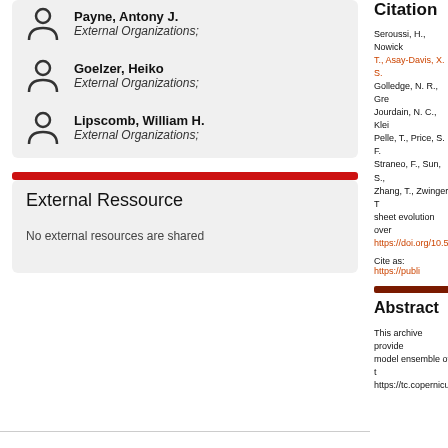Payne, Antony J. | External Organizations;
Goelzer, Heiko | External Organizations;
Lipscomb, William H. | External Organizations;
External Ressource
No external resources are shared
Citation
Seroussi, H., Nowick... T., Asay-Davis, X. S., Golledge, N. R., Gre... Jourdain, N. C., Klei... Pelle, T., Price, S. F., Straneo, F., Sun, S., Zhang, T., Zwinger, T... sheet evolution over... https://doi.org/10.528...
Cite as: https://publi...
Abstract
This archive provide... model ensemble of t... https://tc.copernicus...